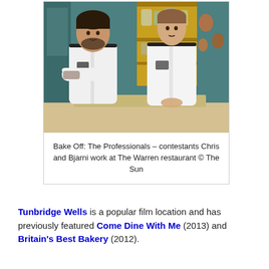[Figure (photo): Two chefs in white uniforms with black trim standing behind a counter in a kitchen with teal walls and yellow shelving with jars in background. Left chef has arms crossed, right chef has hands folded.]
Bake Off: The Professionals – contestants Chris and Bjarni work at The Warren restaurant © The Sun
Tunbridge Wells is a popular film location and has previously featured Come Dine With Me (2013) and Britain's Best Bakery (2012).